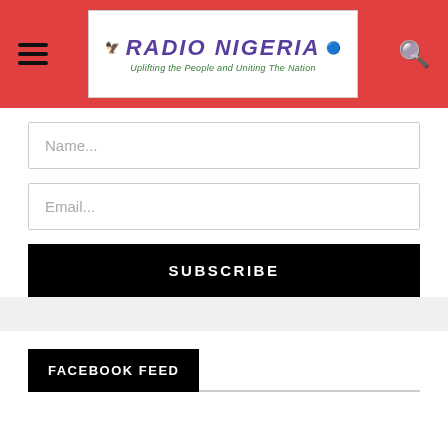Radio Nigeria — Uplifting the People and Uniting The Nation
Name...
Email...
SUBSCRIBE
FACEBOOK FEED
REGIONAL MARKET NEWS